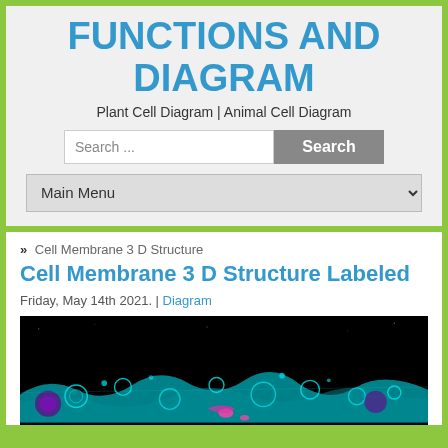FUNCTIONS AND DIAGRAM
Plant Cell Diagram | Animal Cell Diagram
Search ...
Search
Main Menu
» Cell Membrane 3 D Structure
Cell Membrane 3 D Structure Labeled
Friday, May 14th 2021. | Diagram
[Figure (photo): 3D microscopy image of cell membrane structure, dark background with cyan and pink glowing cellular structures]